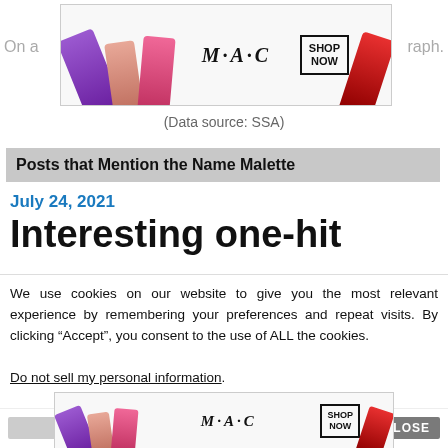[Figure (photo): MAC cosmetics advertisement banner with lipsticks and SHOP NOW button]
(Data source: SSA)
Posts that Mention the Name Malette
July 24, 2021
Interesting one-hit
We use cookies on our website to give you the most relevant experience by remembering your preferences and repeat visits. By clicking “Accept”, you consent to the use of ALL the cookies.
Do not sell my personal information.
[Figure (photo): MAC cosmetics advertisement banner at bottom with lipsticks and SHOP NOW button]